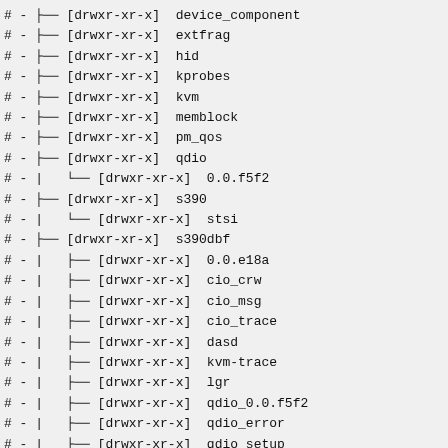# - ├── [drwxr-xr-x] device_component
# - ├── [drwxr-xr-x] extfrag
# - ├── [drwxr-xr-x] hid
# - ├── [drwxr-xr-x] kprobes
# - ├── [drwxr-xr-x] kvm
# - ├── [drwxr-xr-x] memblock
# - ├── [drwxr-xr-x] pm_qos
# - ├── [drwxr-xr-x] qdio
# - |   └── [drwxr-xr-x] 0.0.f5f2
# - ├── [drwxr-xr-x] s390
# - |   └── [drwxr-xr-x] stsi
# - ├── [drwxr-xr-x] s390dbf
# - |   ├── [drwxr-xr-x] 0.0.e18a
# - |   ├── [drwxr-xr-x] cio_crw
# - |   ├── [drwxr-xr-x] cio_msg
# - |   ├── [drwxr-xr-x] cio_trace
# - |   ├── [drwxr-xr-x] dasd
# - |   ├── [drwxr-xr-x] kvm-trace
# - |   ├── [drwxr-xr-x] lgr
# - |   ├── [drwxr-xr-x] qdio_0.0.f5f2
# - |   ├── [drwxr-xr-x] qdio_error
# - |   ├── [drwxr-xr-x] qdio_setup
# - |   ├── [drwxr-xr-x] qeth_card_0.0.f5f0
# - |   ├── [drwxr-xr-x] qeth_control
# - |   └── [drwxr-xr-x] qeth_msg